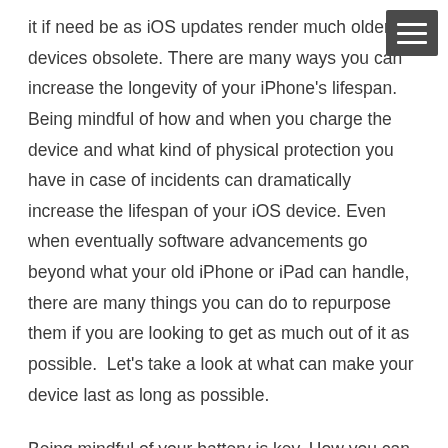it if need be as iOS updates render much older devices obsolete. There are many ways you can increase the longevity of your iPhone's lifespan. Being mindful of how and when you charge the device and what kind of physical protection you have in case of incidents can dramatically increase the lifespan of your iOS device. Even when eventually software advancements go beyond what your old iPhone or iPad can handle, there are many things you can do to repurpose them if you are looking to get as much out of it as possible.  Let's take a look at what can make your device last as long as possible.
Being mindful of your battery is key. How you can help increase battery longevity is a question I get often while helping clients and it is how you can get the maximum lifespan out of a device. Turning your iPhone off while charging, turning off location services, closing any apps open